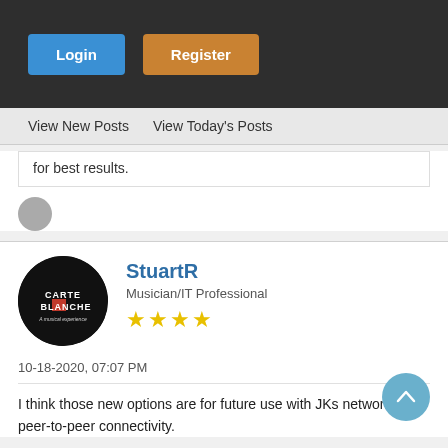Login  Register
View New Posts   View Today's Posts
for best results.
[Figure (illustration): Grey circle placeholder avatar]
StuartR
Musician/IT Professional
★★★★ (4 stars)
10-18-2020, 07:07 PM
I think those new options are for future use with JKs network acc peer-to-peer connectivity.